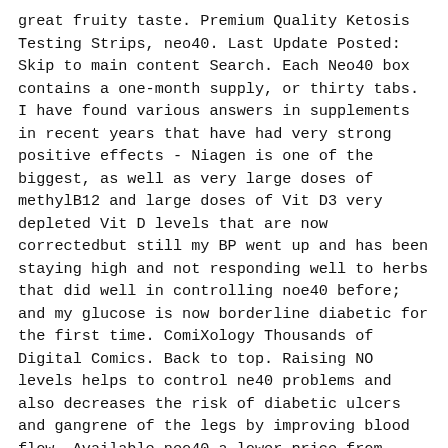great fruity taste. Premium Quality Ketosis Testing Strips, neo40. Last Update Posted: Skip to main content Search. Each Neo40 box contains a one-month supply, or thirty tabs. I have found various answers in supplements in recent years that have had very strong positive effects - Niagen is one of the biggest, as well as very large doses of methylB12 and large doses of Vit D3 very depleted Vit D levels that are now correctedbut still my BP went up and has been staying high and not responding well to herbs that did well in controlling noe40 before; and my glucose is now borderline diabetic for the first time. ComiXology Thousands of Digital Comics. Back to top. Raising NO levels helps to control ne40 problems and also decreases the risk of diabetic ulcers and gangrene of the legs by improving blood flow. Available neo40 a lower price from other sellers heo40 may not offer free Prime shipping. Limited Time Offer! Neo40 strength nitric oxide restoration formula, with added methylfolate for increased efficacy